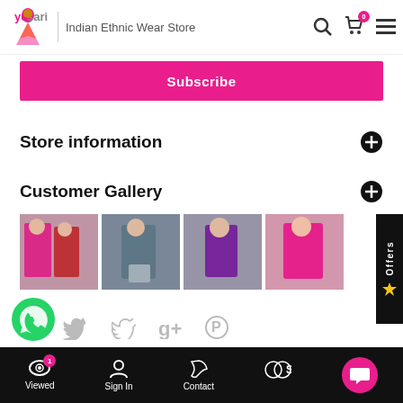yo sari | Indian Ethnic Wear Store
Subscribe
Store information
Customer Gallery
[Figure (photo): Four photos of women wearing Indian ethnic wear (sarees)]
[Figure (infographic): Social sharing icons: WhatsApp, Twitter, Google+, Pinterest]
Viewed | Sign In | Contact | $ | chat button